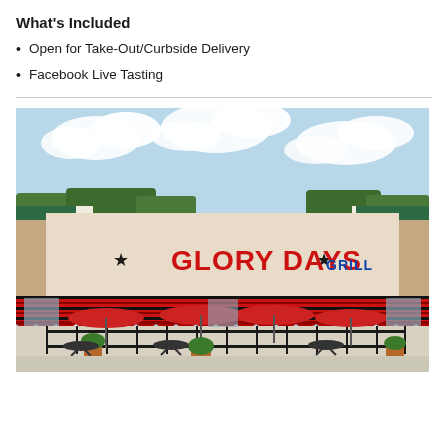What's Included
Open for Take-Out/Curbside Delivery
Facebook Live Tasting
[Figure (photo): Exterior photo of Glory Days Grill restaurant, showing storefront with red striped awnings, red and blue signage reading 'GLORY DAYS GRILL', outdoor patio with red umbrellas and black iron fence, green metal roof, blue sky with clouds in background.]